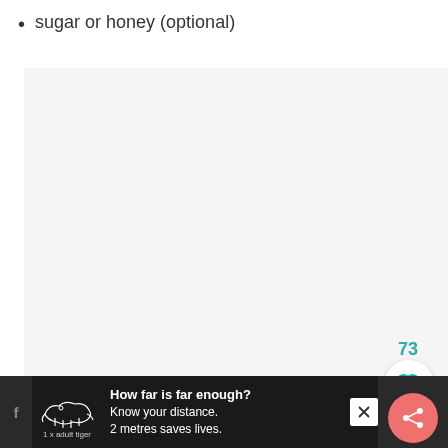sugar or honey (optional)
[Figure (other): Large light gray image area placeholder in the middle of the page, with UI overlay elements: a teal heart icon with count 73, a white circular heart button, a teal circular search button, a teal circular small heart button, and a coral/salmon circular share button on the right side.]
[Figure (other): Dark advertisement banner at the bottom showing a tiger outline illustration with text '1 x adult tiger', advertisement text 'How far is far enough? Know your distance. 2 metres saves lives.' with a close X button, and a right section with X mark and what appears to be an app icon.]